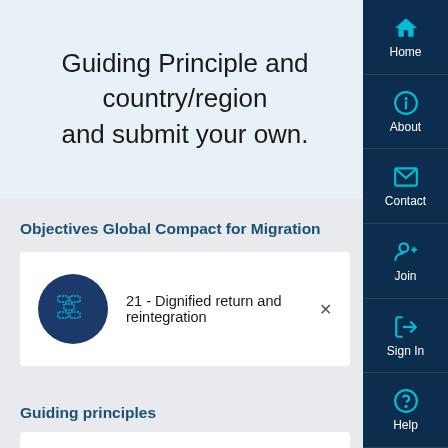Guiding Principle and country/region and submit your own.
Objectives Global Compact for Migration
21 - Dignified return and reintegration
Guiding principles